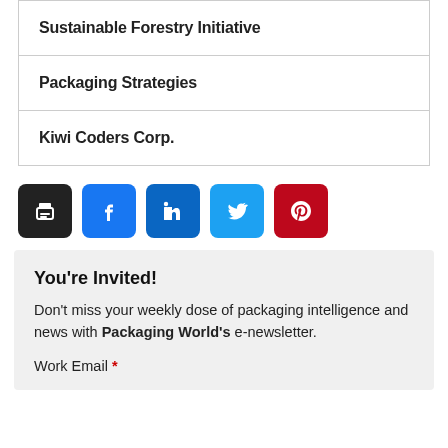| Sustainable Forestry Initiative |
| Packaging Strategies |
| Kiwi Coders Corp. |
[Figure (other): Social sharing buttons: print (black), Facebook (blue), LinkedIn (dark blue), Twitter (light blue), Pinterest (red)]
You're Invited!
Don't miss your weekly dose of packaging intelligence and news with Packaging World's e-newsletter.
Work Email *